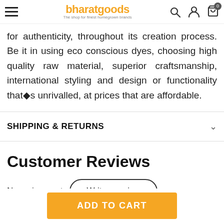bharatgoods — The shop for finest homegrown brands
for authenticity, throughout its creation process. Be it in using eco conscious dyes, choosing high quality raw material, superior craftsmanship, international styling and design or functionality that�s unrivalled, at prices that are affordable.
SHIPPING & RETURNS
Customer Reviews
No reviews yet
Write a review
ADD TO CART